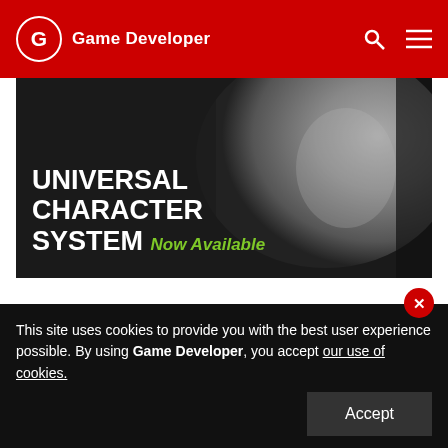Game Developer
[Figure (illustration): Advertisement for Universal Character System showing a close-up grayscale face with text 'UNIVERSAL CHARACTER SYSTEM Now Available']
Everybody you meet has unexpected replies to the choices you make and both their and your actions can be a little nutty sometimes! Can you reason
This site uses cookies to provide you with the best user experience possible. By using Game Developer, you accept our use of cookies.